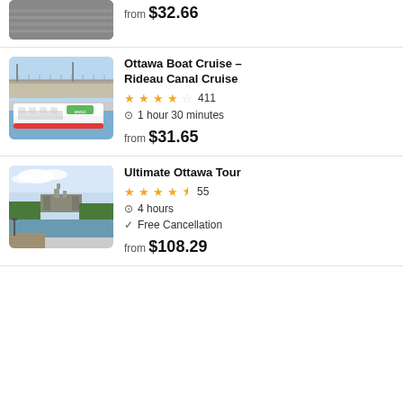from $32.66
Ottawa Boat Cruise – Rideau Canal Cruise
★★★★☆ 411
1 hour 30 minutes
from $31.65
Ultimate Ottawa Tour
★★★★½ 55
4 hours
Free Cancellation
from $108.29